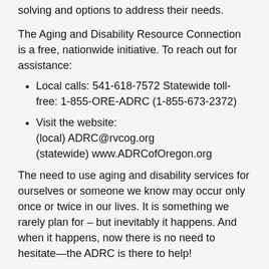solving and options to address their needs.
The Aging and Disability Resource Connection is a free, nationwide initiative. To reach out for assistance:
Local calls: 541-618-7572 Statewide toll-free: 1-855-ORE-ADRC (1-855-673-2372)
Visit the website:
(local) ADRC@rvcog.org
(statewide) www.ADRCofOregon.org
The need to use aging and disability services for ourselves or someone we know may occur only once or twice in our lives. It is something we rarely plan for – but inevitably it happens. And when it happens, now there is no need to hesitate—the ADRC is there to help!
Article Provided by: ADRC